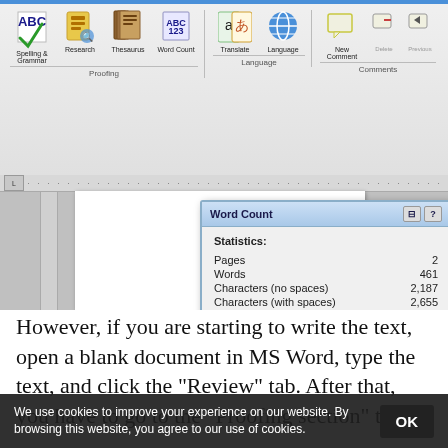[Figure (screenshot): Screenshot of Microsoft Word showing the Review ribbon with Proofing, Language, and Comments groups, plus a Word Count dialog showing Statistics: Pages 2, Words 461, Characters (no spaces) 2,187, Characters (with spaces) 2,655, Paragraphs 15, Lines 53, with a checkbox for 'Include textboxes, footnotes and end...' and a Close button.]
However, if you are starting to write the text, open a blank document in MS Word, type the text, and click the "Review" tab. After that, you have to go to the "Proofing section" to
We use cookies to improve your experience on our website. By browsing this website, you agree to our use of cookies.